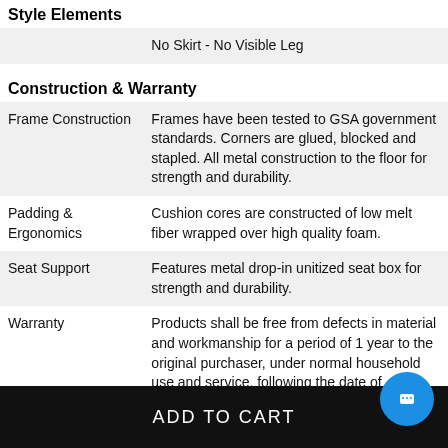Style Elements
|  | No Skirt - No Visible Leg |
Construction & Warranty
| Frame Construction | Frames have been tested to GSA government standards. Corners are glued, blocked and stapled. All metal construction to the floor for strength and durability. |
| Padding & Ergonomics | Cushion cores are constructed of low melt fiber wrapped over high quality foam. |
| Seat Support | Features metal drop-in unitized seat box for strength and durability. |
| Warranty | Products shall be free from defects in material and workmanship for a period of 1 year to the original purchaser, under normal household use and service, following the date of purchase to the original purchaser. |
ADD TO CART